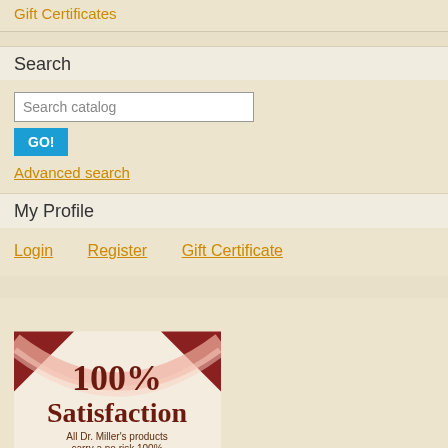Gift Certificates
Search
Search catalog
GO!
Advanced search
My Profile
Login   Register   Gift Certificate
[Figure (illustration): 100% Satisfaction guarantee badge for Dr. Miller's products with a no risk 100% money back guarantee statement]